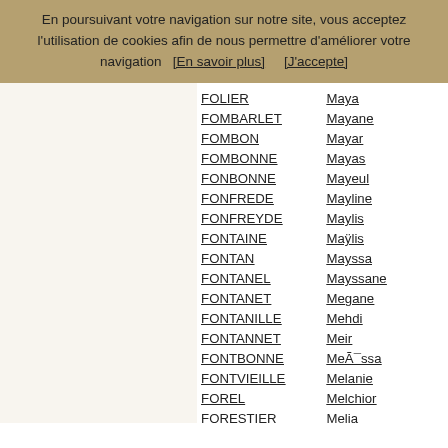En poursuivant votre navigation sur notre site, vous acceptez l'utilisation de cookies afin de nous permettre d'améliorer votre navigation   [En savoir plus]       [J'accepte]
| Surname | First name |
| --- | --- |
| FOLIER | Maya |
| FOMBARLET | Mayane |
| FOMBON | Mayar |
| FOMBONNE | Mayas |
| FONBONNE | Mayeul |
| FONFREDE | Mayline |
| FONFREYDE | Maylis |
| FONTAINE | Maÿlis |
| FONTAN | Mayssa |
| FONTANEL | Mayssane |
| FONTANET | Megane |
| FONTANILLE | Mehdi |
| FONTANNET | Meir |
| FONTBONNE | Meïssa |
| FONTVIEILLE | Melanie |
| FOREL | Melchior |
| FORESTIER | Melia |
| FOREY | Mélie |
| FORIE | Melina |
| FORIEL | Melinda |
| FORITES | Meline |
| FORITTE | Méli... |